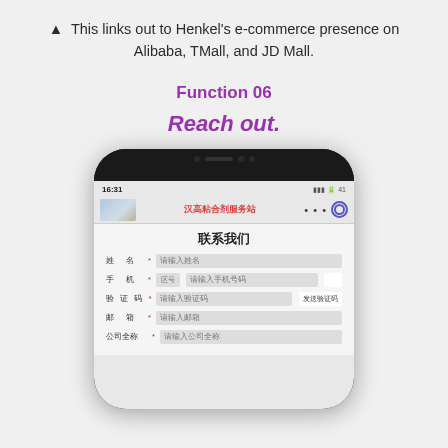▲  This links out to Henkel's e-commerce presence on Alibaba, TMall, and JD Mall.
Function 06
Reach out.
[Figure (screenshot): Screenshot of a mobile phone showing a WeChat mini-program contact form for Henkel adhesives (汉高粘合剂服务站). The form is titled 联系我们 (Contact Us) and includes fields for 姓名 (Name), 手机 (Phone), 验证码 (Verification Code), 邮箱 (Email), and 公司全称 (Company Name).]